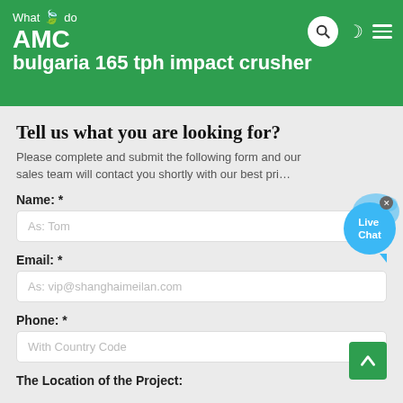What ✉ do AMC bulgaria 165 tph impact crusher
Tell us what you are looking for?
Please complete and submit the following form and our sales team will contact you shortly with our best pri…
Name: *
As: Tom
Email: *
As: vip@shanghaimeilan.com
Phone: *
With Country Code
The Location of the Project: